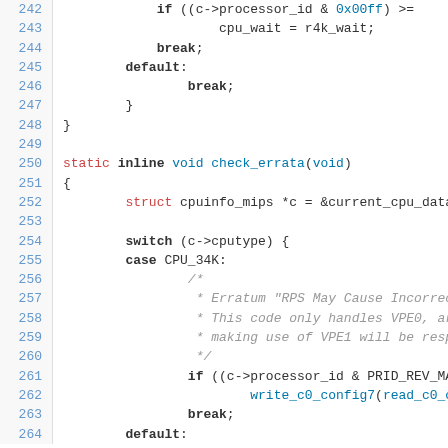[Figure (screenshot): Source code listing lines 242-264 showing C code for check_errata function with switch statement on cputype]